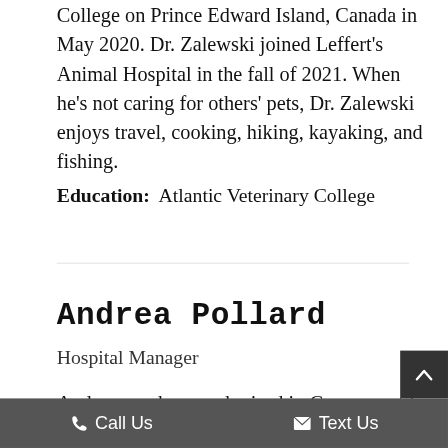College on Prince Edward Island, Canada in May 2020. Dr. Zalewski joined Leffert's Animal Hospital in the fall of 2021. When he's not caring for others' pets, Dr. Zalewski enjoys travel, cooking, hiking, kayaking, and fishing.
Education:  Atlantic Veterinary College
Andrea Pollard
Hospital Manager
Andrea was born and raised in Guyana until she w[as a teenager and imm]igr[ated to New Yor]k. She